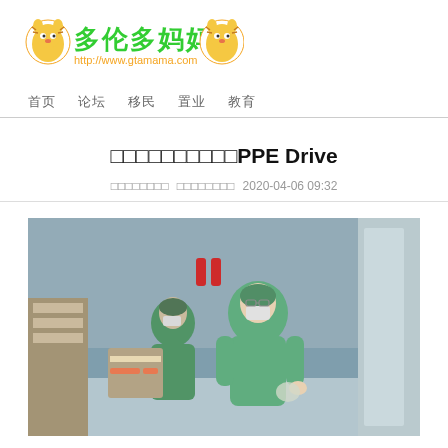[Figure (logo): 多伦多妈妈网 logo with tiger mascot and URL http://www.gtamama.com]
首页  论坛  移民  置业  教育
□□□□□□□□□□PPE Drive
□□□□□□□□  □□□□□□□□  2020-04-06 09:32
[Figure (photo): Healthcare workers in teal/green PPE gowns, masks and hair covers walking in a hospital corridor]